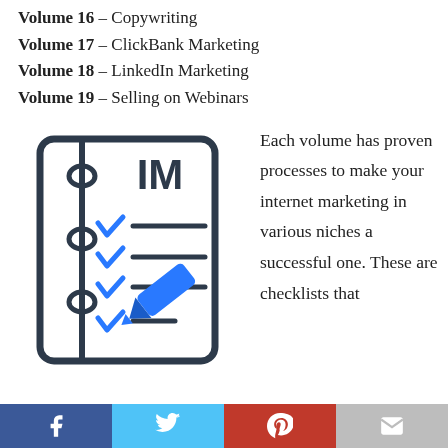Volume 16 – Copywriting
Volume 17 – ClickBank Marketing
Volume 18 – LinkedIn Marketing
Volume 19 – Selling on Webinars
[Figure (illustration): A notebook/checklist icon with blue checkmarks and a blue pencil, and the letter M logo at the top]
Each volume has proven processes to make your internet marketing in various niches a successful one. These are checklists that
Facebook | Twitter | Pinterest | Email